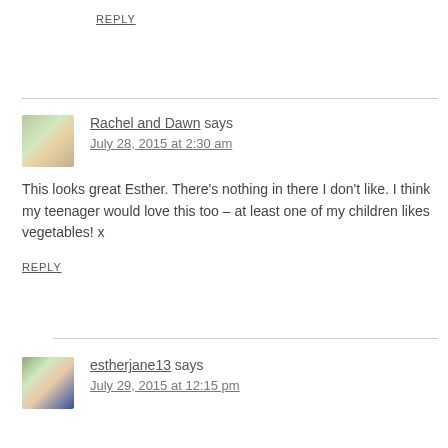REPLY
Rachel and Dawn says
July 28, 2015 at 2:30 am
This looks great Esther. There's nothing in there I don't like. I think my teenager would love this too – at least one of my children likes vegetables! x
REPLY
estherjane13 says
July 29, 2015 at 12:15 pm